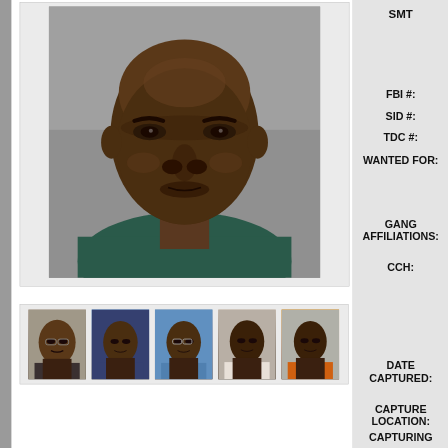[Figure (photo): Main mugshot photo of an adult Black male, close-up head and shoulders, wearing a dark green/teal shirt, grey background]
[Figure (photo): Strip of 5 smaller mugshot thumbnail photos of the same individual at different times]
SMT
FBI #:
SID #:
TDC #:
WANTED FOR:
GANG AFFILIATIONS:
CCH:
DATE CAPTURED:
CAPTURE LOCATION:
CAPTURING